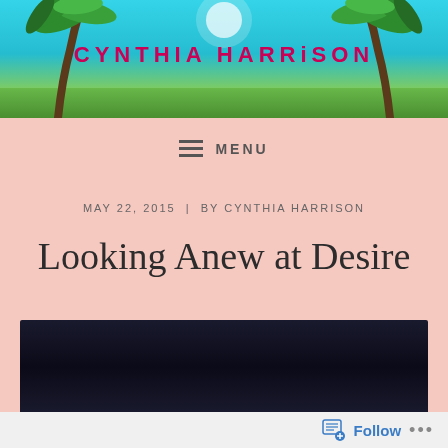[Figure (illustration): Website header banner with cyan/teal sky background, two green palm trees on left and right sides, and the blog name 'CYNTHIA HARRISON' in pink/red bold lettering centered at top]
CYNTHIA HARRISON
≡  MENU
MAY 22, 2015  |  BY CYNTHIA HARRISON
Looking Anew at Desire
[Figure (photo): Dark/black photograph or video thumbnail, nearly all dark navy/black, rectangular]
Follow  •••